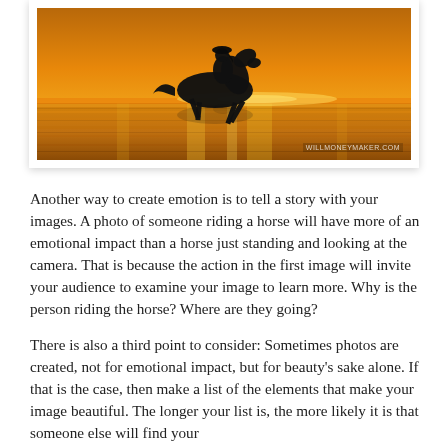[Figure (photo): Silhouette of a person riding a horse at sunset/golden hour on a beach or wet surface, with golden-orange reflections. Watermark reads WILLMONEYMAKER.COM in lower right.]
Another way to create emotion is to tell a story with your images. A photo of someone riding a horse will have more of an emotional impact than a horse just standing and looking at the camera. That is because the action in the first image will invite your audience to examine your image to learn more. Why is the person riding the horse? Where are they going?
There is also a third point to consider: Sometimes photos are created, not for emotional impact, but for beauty's sake alone. If that is the case, then make a list of the elements that make your image beautiful. The longer your list is, the more likely it is that someone else will find your